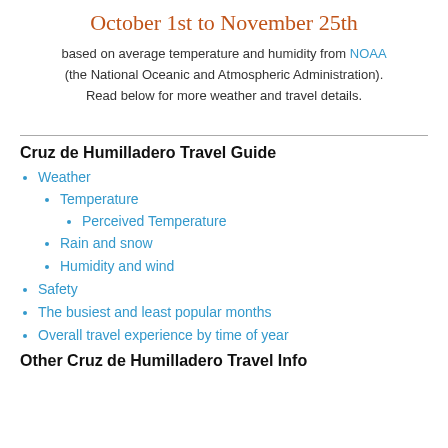October 1st to November 25th
based on average temperature and humidity from NOAA (the National Oceanic and Atmospheric Administration). Read below for more weather and travel details.
Cruz de Humilladero Travel Guide
Weather
Temperature
Perceived Temperature
Rain and snow
Humidity and wind
Safety
The busiest and least popular months
Overall travel experience by time of year
Other Cruz de Humilladero Travel Info